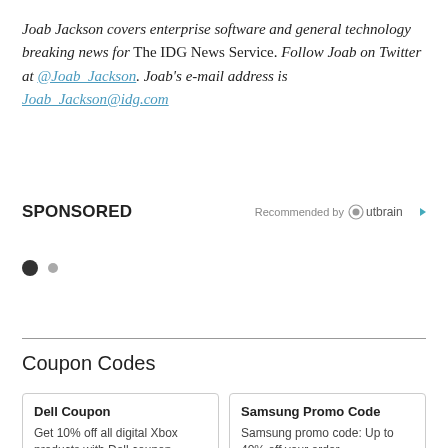Joab Jackson covers enterprise software and general technology breaking news for The IDG News Service. Follow Joab on Twitter at @Joab_Jackson. Joab's e-mail address is Joab_Jackson@idg.com
SPONSORED
[Figure (other): Outbrain recommended content widget with two pagination dots]
Coupon Codes
Dell Coupon — Get 10% off all digital Xbox products with Dell coupon
Samsung Promo Code — Samsung promo code: Up to 40% off your order